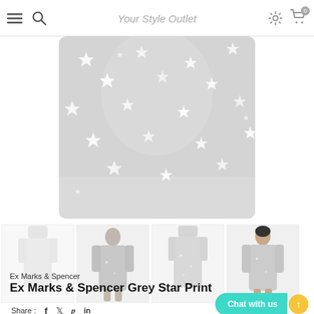Your Style Outlet — navigation bar with hamburger menu, search, settings, cart
[Figure (photo): Main product image: close-up of grey star-print long nightdress fabric, showing star pattern on light grey jersey material]
[Figure (photo): Thumbnail 1: full-length front view of plain white/very pale grey long-sleeve nightdress on white background]
[Figure (photo): Thumbnail 2: back view of woman wearing grey star-print long nightdress]
[Figure (photo): Thumbnail 3: full-length front view of grey star-print long-sleeve nightdress on white background]
[Figure (photo): Thumbnail 4: front view of woman wearing grey star-print long nightdress, showing V-neckline detail]
Share : f  t  p  in
Ex Marks & Spencer
Ex Marks & Spencer Grey Star Print